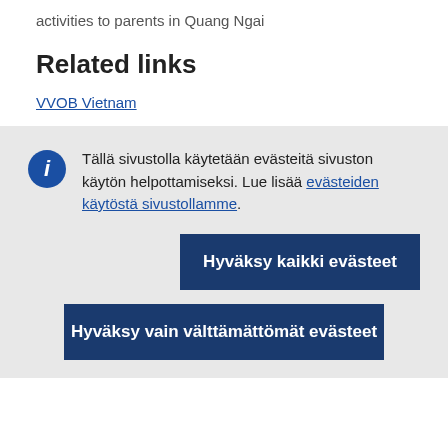activities to parents in Quang Ngai
Related links
VVOB Vietnam
Tällä sivustolla käytetään evästeitä sivuston käytön helpottamiseksi. Lue lisää evästeiden käytöstä sivustollamme.
Hyväksy kaikki evästeet
Hyväksy vain välttämättömät evästeet